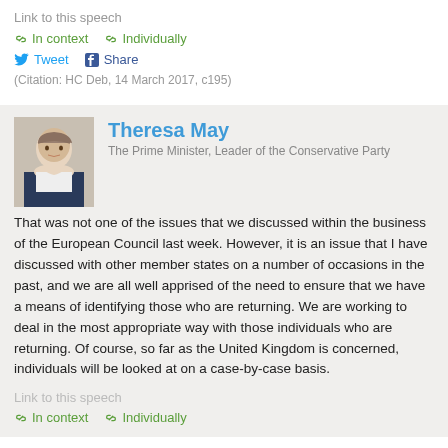Link to this speech
In context   Individually
Tweet   Share
(Citation: HC Deb, 14 March 2017, c195)
Theresa May
The Prime Minister, Leader of the Conservative Party
That was not one of the issues that we discussed within the business of the European Council last week. However, it is an issue that I have discussed with other member states on a number of occasions in the past, and we are all well apprised of the need to ensure that we have a means of identifying those who are returning. We are working to deal in the most appropriate way with those individuals who are returning. Of course, so far as the United Kingdom is concerned, individuals will be looked at on a case-by-case basis.
Link to this speech
In context   Individually